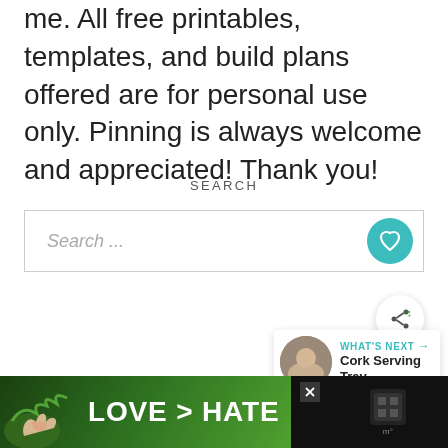me. All free printables, templates, and build plans offered are for personal use only. Pinning is always welcome and appreciated! Thank you!
SEARCH
Search ...
CATEGORIES
[Figure (screenshot): Advertisement banner showing 'LOVE > HATE' text with hands forming a heart shape against a green background, with a close button and a branding icon on the right side.]